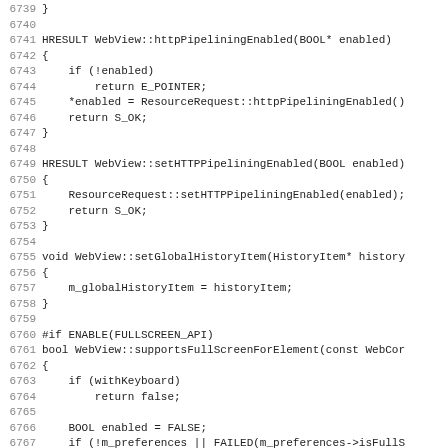Source code listing, lines 6739-6771, C++ WebView methods: httpPipeliningEnabled, setHTTPPipeliningEnabled, setGlobalHistoryItem, supportsFullScreenForElement